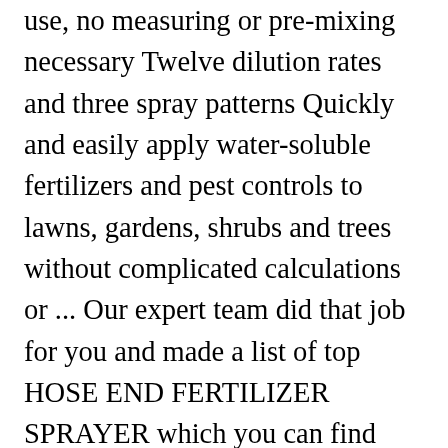use, no measuring or pre-mixing necessary Twelve dilution rates and three spray patterns Quickly and easily apply water-soluble fertilizers and pest controls to lawns, gardens, shrubs and trees without complicated calculations or ... Our expert team did that job for you and made a list of top HOSE END FERTILIZER SPRAYER which you can find below. For water soluble fertilizers. You can use a hose-end sprayer for large areas. A watering can is ideal for containers or small areas You did not mention what herbicide you are trying to use in the Chapin Hose Wet/Dry Hose-End Sprayer so we are unable to accurately answer your question. 5 ounces of permethrin